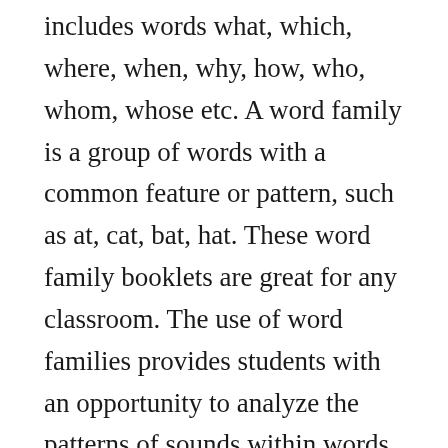includes words what, which, where, when, why, how, who, whom, whose etc. A word family is a group of words with a common feature or pattern, such as at, cat, bat, hat. These word family booklets are great for any classroom. The use of word families provides students with an opportunity to analyze the patterns of sounds within words and parts of an entire word such as rimesvowel and following consonants, and onsetsconsonants preceding the rime. Word family single sheet stories cover hubbards cupboard. A word family is the base form of a word plus its